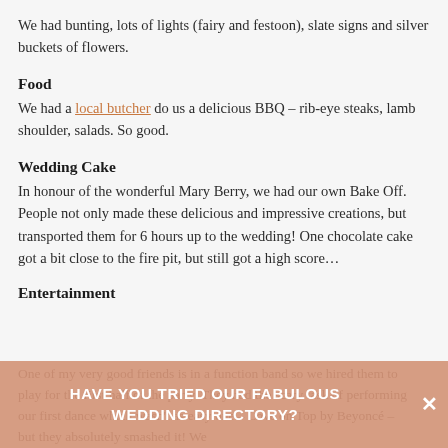We had bunting, lots of lights (fairy and festoon), slate signs and silver buckets of flowers.
Food
We had a local butcher do us a delicious BBQ – rib-eye steaks, lamb shoulder, salads. So good.
Wedding Cake
In honour of the wonderful Mary Berry, we had our own Bake Off. People not only made these delicious and impressive creations, but transported them for 6 hours up to the wedding! One chocolate cake got a bit close to the fire pit, but still got a high score…
Entertainment
One of my very good friends is in a function band so we hired them to play for the first half of the party. They had the scary task of performing our first dance which wasn't as easy one – Love on Top by Beyoncé – but they absolutely smashed it! We
HAVE YOU TRIED OUR FABULOUS WEDDING DIRECTORY?